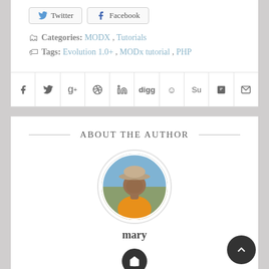[Figure (other): Twitter and Facebook share buttons at top of page]
Categories: MODX, Tutorials
Tags: Evolution 1.0+, MODx tutorial, PHP
[Figure (other): Social share icon bar with facebook, twitter, google+, pinterest, linkedin, digg, reddit, stumbleupon, save, email icons]
ABOUT THE AUTHOR
[Figure (photo): Circular avatar photo of person named mary wearing an orange shirt and hat outdoors]
mary